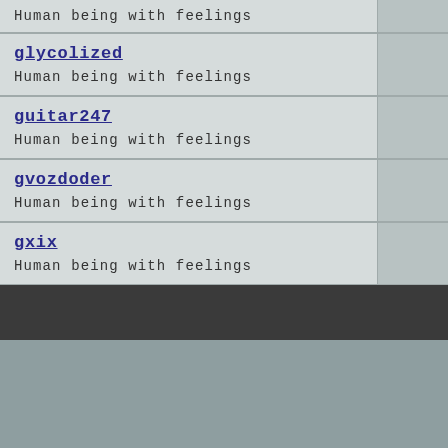Human being with feelings
glycolized
Human being with feelings
guitar247
Human being with feelings
gvozdoder
Human being with feelings
gxix
Human being with feelings
All times are G
---- REAPER 5
Powered
Copyright ©2(